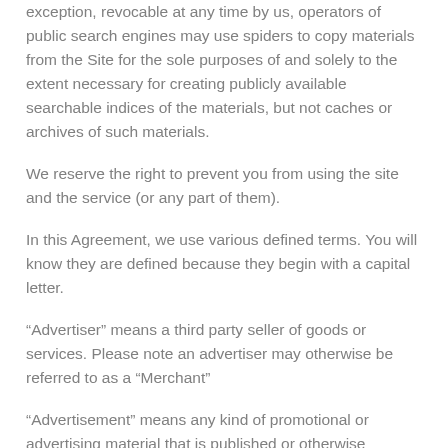exception, revocable at any time by us, operators of public search engines may use spiders to copy materials from the Site for the sole purposes of and solely to the extent necessary for creating publicly available searchable indices of the materials, but not caches or archives of such materials.
We reserve the right to prevent you from using the site and the service (or any part of them).
In this Agreement, we use various defined terms. You will know they are defined because they begin with a capital letter.
“Advertiser” means a third party seller of goods or services. Please note an advertiser may otherwise be referred to as a “Merchant”
“Advertisement” means any kind of promotional or advertising material that is published or otherwise displayed on the Website on behalf of the Advertiser.